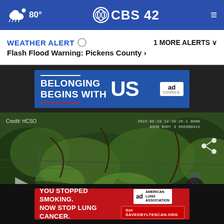CBS42 - 80° weather, navigation bar
WEATHER ALERT  Flash Flood Warning: Pickens County >  1 MORE ALERTS v
[Figure (screenshot): Ad banner: BELONGING BEGINS WITH US - Ad Council]
[Figure (photo): Security camera or trail camera footage showing vegetation, brush, and a person partially visible. Credit: HCSO. Timestamp: 2022:05:19 12:39:26-1 0000 AXON BODY 3 X66300412. Play button overlay and close button visible.]
[Figure (screenshot): Ad banner: YOU STOPPED SMOKING. NOW STOP LUNG CANCER. American Lung Association. Get SAVEDBYLTESCAN.ORG]